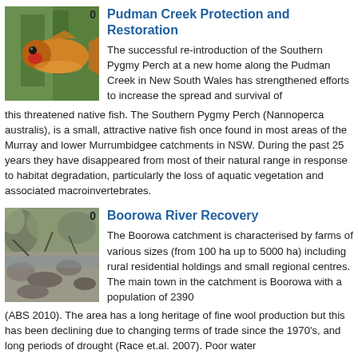[Figure (photo): Close-up photo of a Southern Pygmy Perch fish, orange/golden colored, with green aquatic plant background]
Pudman Creek Protection and Restoration
The successful re-introduction of the Southern Pygmy Perch at a new home along the Pudman Creek in New South Wales has strengthened efforts to increase the spread and survival of this threatened native fish. The Southern Pygmy Perch (Nannoperca australis), is a small, attractive native fish once found in most areas of the Murray and lower Murrumbidgee catchments in NSW. During the past 25 years they have disappeared from most of their natural range in response to habitat degradation, particularly the loss of aquatic vegetation and associated macroinvertebrates.
[Figure (photo): Photo of a rocky river or creek scene with trees and stones, Boorowa River area]
Boorowa River Recovery
The Boorowa catchment is characterised by farms of various sizes (from 100 ha up to 5000 ha) including rural residential holdings and small regional centres. The main town in the catchment is Boorowa with a population of 2390 (ABS 2010). The area has a long heritage of fine wool production but this has been declining due to changing terms of trade since the 1970's, and long periods of drought (Race et.al. 2007). Poor water quality and other threats to the river system continue to affect this...